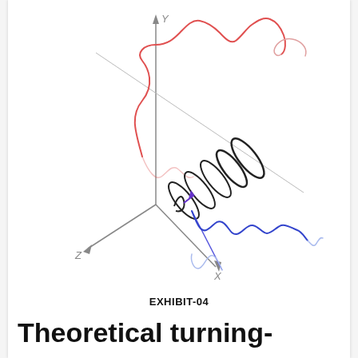[Figure (engineering-diagram): 3D coordinate system diagram showing electromagnetic wave propagation. Y-axis points up, Z-axis points left-forward, X-axis points down-right. Three sinusoidal waves shown: red wave (electric field) oscillating in the Y-Z plane, blue wave (magnetic field) oscillating perpendicular, and a black helix/spiral wave. A purple arrow indicates the direction vector at the origin. Grey diagonal axis lines cross the diagram.]
EXHIBIT-04
Theoretical turning-